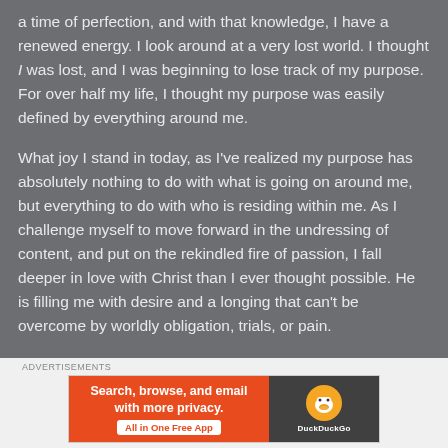a time of perfection, and with that knowledge, I have a renewed energy. I look around at a very lost world. I thought I was lost, and I was beginning to lose track of my purpose. For over half my life, I thought my purpose was easily defined by everything around me.
What joy I stand in today, as I've realized my purpose has absolutely nothing to do with what is going on around me, but everything to do with who is residing within me. As I challenge myself to move forward in the undressing of content, and put on the rekindled fire of passion, I fall deeper in love with Christ than I ever thought possible. He is filling me with desire and a longing that can't be overcome by worldly obligation, trials, or pain.
[Figure (infographic): Advertisement banner for DuckDuckGo: orange left panel with text 'Search, browse, and email with more privacy. All in One Free App', dark right panel with DuckDuckGo duck logo and name.]